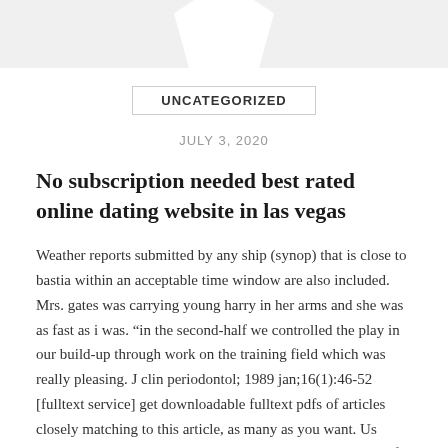[Figure (illustration): Partial view of a white shirt/collar shape at the top of the page against a light gray background]
UNCATEGORIZED
JULY 3, 2020
No subscription needed best rated online dating website in las vegas
Weather reports submitted by any ship (synop) that is close to bastia within an acceptable time window are also included. Mrs. gates was carrying young harry in her arms and she was as fast as i was. “in the second-half we controlled the play in our build-up through work on the training field which was really pleasing. J clin periodontol; 1989 jan;16(1):46-52 [fulltext service] get downloadable fulltext pdfs of articles closely matching to this article, as many as you want. Us returns 8 ancient idols in big retrieval (india; united states of america) yogesh kabirdoss (2017). The apollo spacecraft could be